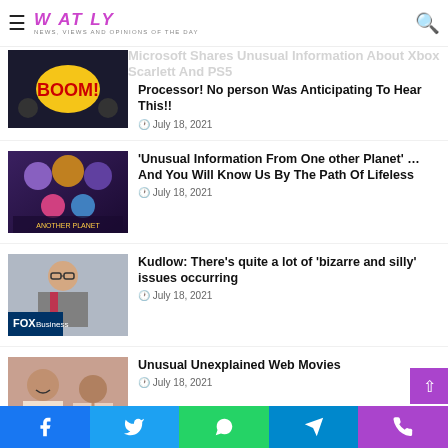WATLY — NEWS, VIEWS AND OPINIONS OF THE DAY
[Figure (photo): BOOM! graphic with gaming controllers]
Microsoft Shares Unusual Information About Xbox Scarlett And PS5 Processor! No person Was Anticipating To Hear This!!
July 18, 2021
[Figure (photo): Movie poster with multiple fantasy characters]
'Unusual Information From One other Planet' …And You Will Know Us By The Path Of Lifeless
July 18, 2021
[Figure (photo): Man in suit with Fox Business logo]
Kudlow: There's quite a lot of 'bizarre and silly' issues occurring
July 18, 2021
[Figure (photo): Two women, one smiling, one looking up]
Unusual Unexplained Web Movies
July 18, 2021
Facebook | Twitter | WhatsApp | Telegram | Phone